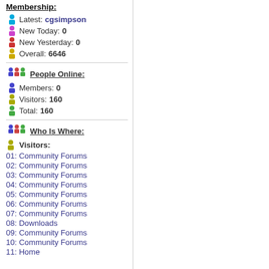Membership:
Latest: cgsimpson
New Today: 0
New Yesterday: 0
Overall: 6646
People Online:
Members: 0
Visitors: 160
Total: 160
Who Is Where:
Visitors:
01: Community Forums
02: Community Forums
03: Community Forums
04: Community Forums
05: Community Forums
06: Community Forums
07: Community Forums
08: Downloads
09: Community Forums
10: Community Forums
11: Home